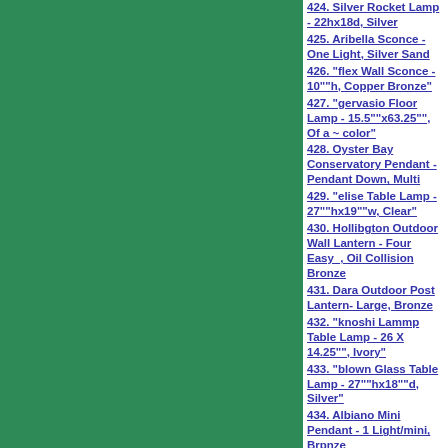[Figure (screenshot): Green sidebar background on left side of webpage]
424. Silver Rocket Lamp - 22hx18d, Silver
425. Aribella Sconce - One Light, Silver Sand
426. "flex Wall Sconce - 10""h, Copper Bronze"
427. "gervasio Floor Lamp - 15.5""x63.25"", Of a ~ color"
428. Oyster Bay Conservatory Pendant - Pendant Down, Multi
429. "elise Table Lamp - 27""hx19""w, Clear"
430. Hollibgton Outdoor Wall Lantern - Four Easy_, Oil Collision Bronze
431. Dara Outdoor Post Lantern- Large, Bronze
432. "knoshi Lammp Table Lamp - 26 X 14.25"", Ivory"
433. "blown Glass Table Lamp - 27""hx18""d, Silver"
434. Albiano Mini Pendant - 1 Light/mini, Brpnze
435. Graham Desk Lamp - 24hx6wx22d, Silver
[Figure (photo): Ulta Beauty advertisement banner showing makeup images and Shop Now button]
infolinks